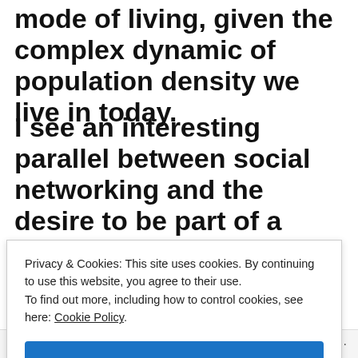mode of living, given the complex dynamic of population density we live in today.
I see an interesting parallel between social networking and the desire to be part of a closer knit tribe, efforts to save the environment and movements to return to nature
Privacy & Cookies: This site uses cookies. By continuing to use this website, you agree to their use.
To find out more, including how to control cookies, see here: Cookie Policy
Close and accept
Follow ···